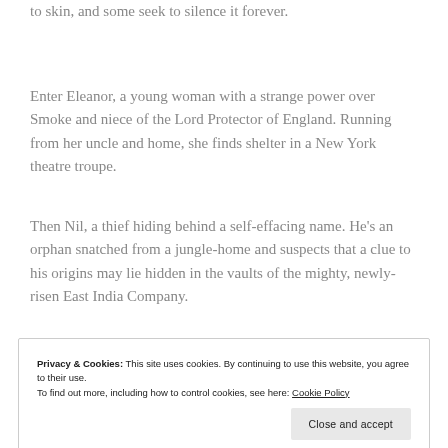to skin, and some seek to silence it forever.
Enter Eleanor, a young woman with a strange power over Smoke and niece of the Lord Protector of England. Running from her uncle and home, she finds shelter in a New York theatre troupe.
Then Nil, a thief hiding behind a self-effacing name. He’s an orphan snatched from a jungle-home and suspects that a clue to his origins may lie hidden in the vaults of the mighty, newly-risen East India Company.
Privacy & Cookies: This site uses cookies. By continuing to use this website, you agree to their use.
To find out more, including how to control cookies, see here: Cookie Policy
Close and accept